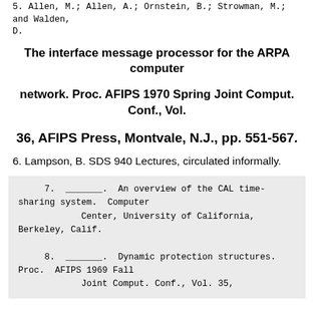5. Allen, M.; Allen, A.; Ornstein, B.; Strowman, M.; and Walden, D.
The interface message processor for the ARPA computer
network. Proc. AFIPS 1970 Spring Joint Comput. Conf., Vol.
36, AFIPS Press, Montvale, N.J., pp. 551-567.
6. Lampson, B. SDS 940 Lectures, circulated informally.
7.  _______.  An overview of the CAL time-sharing system.  Computer
            Center, University of California, Berkeley, Calif.
8.  _______.  Dynamic protection structures.  Proc.  AFIPS 1969 Fall
            Joint Comput. Conf., Vol. 35,